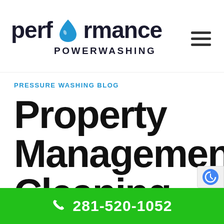[Figure (logo): Performance Powerwashing logo with a blue water drop replacing the 'o' in 'performance', above 'POWERWASHING' subtitle]
PRESSURE WASHING BLOG
Property Management Cleaning Services N...
281-520-1052